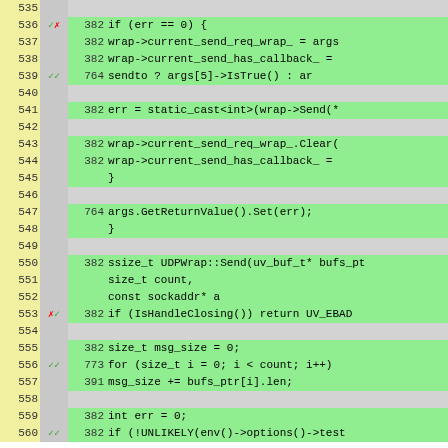[Figure (screenshot): Code coverage view showing source code lines 535-560 with line numbers (yellow background), coverage marks (gray column with check/x symbols), execution counts, and code content (green background for covered lines, gray for uncovered).]